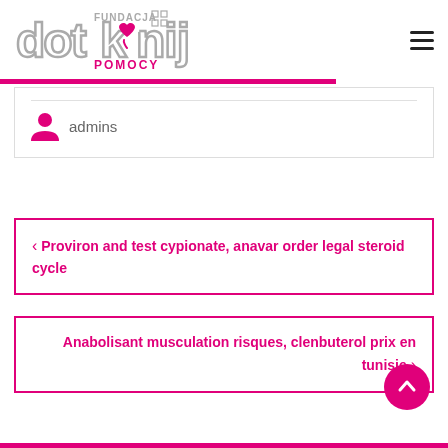[Figure (logo): Fundacja Dotknij Pomocy logo — stylized 'dotknij' text with heart hand icon and 'FUNDACJA POMOCY' text]
admins
< Proviron and test cypionate, anavar order legal steroid cycle
Anabolisant musculation risques, clenbuterol prix en tunisie >